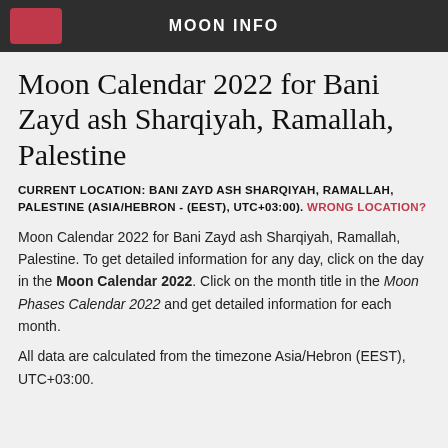MOON INFO
Moon Calendar 2022 for Bani Zayd ash Sharqiyah, Ramallah, Palestine
CURRENT LOCATION: BANI ZAYD ASH SHARQIYAH, RAMALLAH, PALESTINE (ASIA/HEBRON - (EEST), UTC+03:00). WRONG LOCATION?
Moon Calendar 2022 for Bani Zayd ash Sharqiyah, Ramallah, Palestine. To get detailed information for any day, click on the day in the Moon Calendar 2022. Click on the month title in the Moon Phases Calendar 2022 and get detailed information for each month.
All data are calculated from the timezone Asia/Hebron (EEST), UTC+03:00.